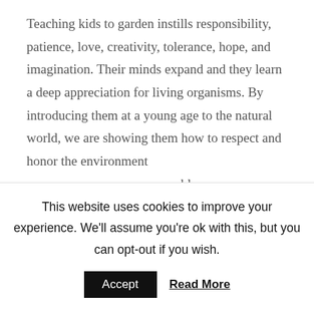Teaching kids to garden instills responsibility, patience, love, creativity, tolerance, hope, and imagination. Their minds expand and they learn a deep appreciation for living organisms. By introducing them at a young age to the natural world, we are showing them how to respect and honor the environment [social icons] biodegradable scraps, eggshells, coffee grinds, fish bones, and other biodegradable items into a pail that we add to our outdoor compost bin, we are demonstrating the value of enriching the soil with natural, nontoxic
[Figure (infographic): Social media share icons: RSS (orange), Follow (gray), Facebook (blue), Twitter (light blue) — displayed as circular icons overlaid on the text]
This website uses cookies to improve your experience. We'll assume you're ok with this, but you can opt-out if you wish.